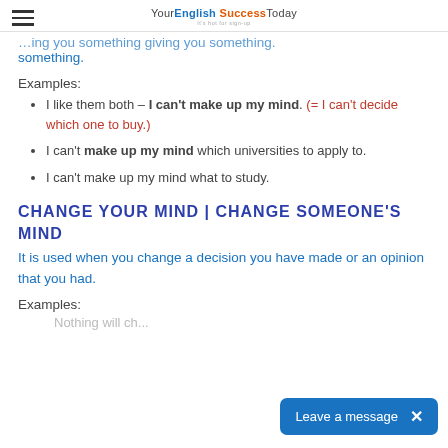Your English Success Today
something.
Examples:
I like them both – I can't make up my mind. (= I can't decide which one to buy.)
I can't make up my mind which universities to apply to.
I can't make up my mind what to study.
CHANGE YOUR MIND | CHANGE SOMEONE'S MIND
It is used when you change a decision you have made or an opinion that you had.
Examples: